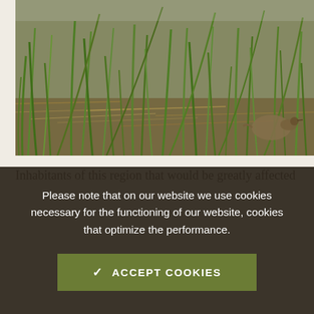[Figure (photo): Close-up photograph of green grass blades and dry straw/mulch on the ground, with a bird (possibly a quail or similar ground bird) partially visible among the grasses on the right side.]
Inhabitants of this region that would be greatly affected
Please note that on our website we use cookies necessary for the functioning of our website, cookies that optimize the performance.
✓ ACCEPT COOKIES